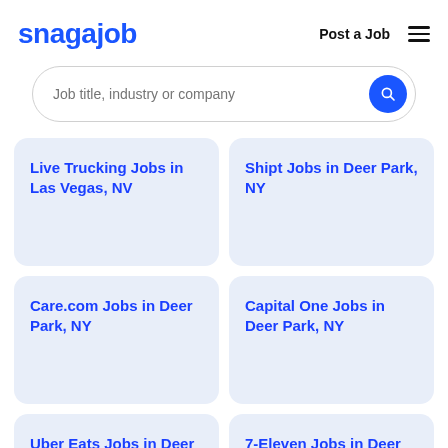snagajob | Post a Job
[Figure (screenshot): Search bar with placeholder text 'Job title, industry or company' and a blue circular search button]
Live Trucking Jobs in Las Vegas, NV
Shipt Jobs in Deer Park, NY
Care.com Jobs in Deer Park, NY
Capital One Jobs in Deer Park, NY
Uber Eats Jobs in Deer Park, NY
7-Eleven Jobs in Deer Park, NY